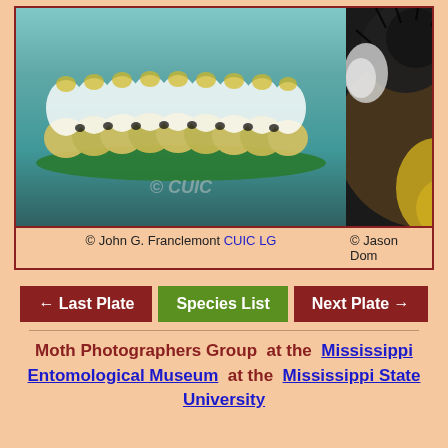[Figure (photo): Close-up photo of a fuzzy caterpillar with white and yellow-tipped setae and black spots, resting on a green leaf. Watermark reads © CUIC.]
[Figure (photo): Close-up photo of a moth caterpillar showing dark, white, and yellow tufts of hair, partially visible on the right side of the page.]
© John G. Franclemont CUIC LG
© Jason Dom
← Last Plate
Species List
Next Plate →
Moth Photographers Group  at the  Mississippi Entomological Museum  at the  Mississippi State University